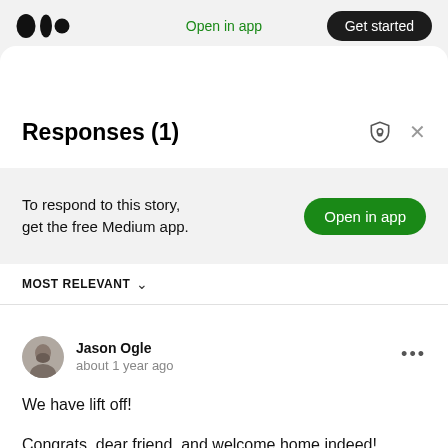Open in app   Get started
Responses (1)
To respond to this story, get the free Medium app.
Open in app
MOST RELEVANT
Jason Ogle
about 1 year ago
We have lift off!

Congrats, dear friend, and welcome home indeed!

Say    to Andy for me.